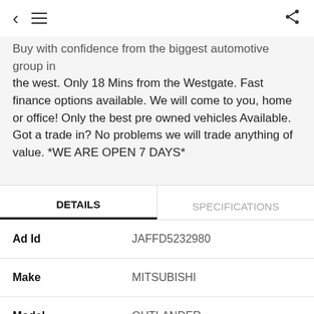< ≡  [share icon]
Buy with confidence from the biggest automotive group in the west. Only 18 Mins from the Westgate. Fast finance options available. We will come to you, home or office! Only the best pre owned vehicles Available. Got a trade in? No problems we will trade anything of value. *WE ARE OPEN 7 DAYS*
DETAILS | SPECIFICATIONS
| Field | Value |
| --- | --- |
| Ad Id | JAFFD5232980 |
| Make | MITSUBISHI |
| Model | OUTLANDER |